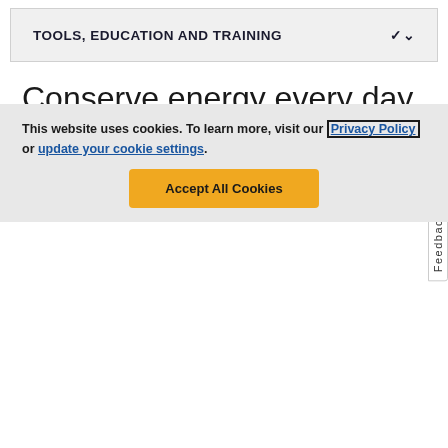TOOLS, EDUCATION AND TRAINING
Conserve energy every day
Think strategically about your energy use. Creating an energy-conscious work environment is important to the biotech industry:
Educate technicians to keep fume hood sashes closed when they're not in use. Consider installing
This website uses cookies. To learn more, visit our Privacy Policy or update your cookie settings.
Accept All Cookies